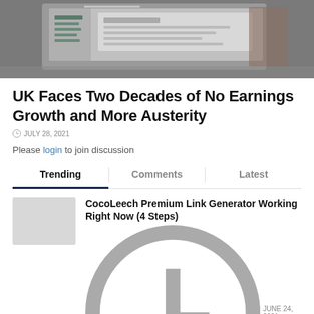[Figure (photo): A laptop or computer screen showing a dashboard or data interface, photographed at an angle on a desk.]
UK Faces Two Decades of No Earnings Growth and More Austerity
JULY 28, 2021
Please login to join discussion
Trending | Comments | Latest
CocoLeech Premium Link Generator Working Right Now (4 Steps)
JUNE 24, 2021
Deepbrid Premium Link Generator Working Right Now (8 Steps)
JUNE 24, 2021